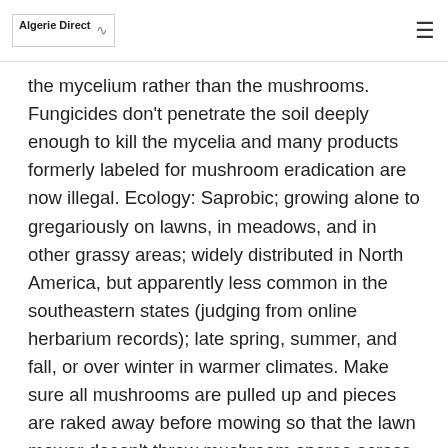Algerie Direct
the mycelium rather than the mushrooms. Fungicides don't penetrate the soil deeply enough to kill the mycelia and many products formerly labeled for mushroom eradication are now illegal. Ecology: Saprobic; growing alone to gregariously on lawns, in meadows, and in other grassy areas; widely distributed in North America, but apparently less common in the southeastern states (judging from online herbarium records); late spring, summer, and fall, or over winter in warmer climates. Make sure all mushrooms are pulled up and pieces are raked away before mowing so that the lawn mower doesn't throw mushroom spores across the lawn, creating an even greater problem. Mushrooms of the common lawn fungus . Ask an Expert offers one-to-one expert answers from Cooperative Extension/University staff